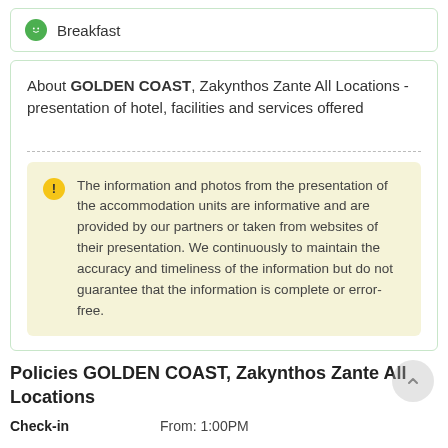Breakfast
About GOLDEN COAST, Zakynthos Zante All Locations - presentation of hotel, facilities and services offered
The information and photos from the presentation of the accommodation units are informative and are provided by our partners or taken from websites of their presentation. We continuously to maintain the accuracy and timeliness of the information but do not guarantee that the information is complete or error-free.
Policies GOLDEN COAST, Zakynthos Zante All Locations
Check-in   From: 1:00PM